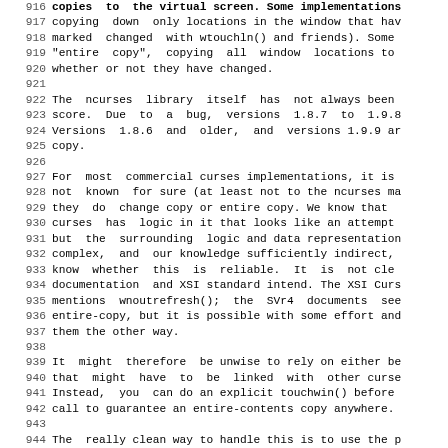916-947: Source code documentation lines from ncurses library manual, describing copy behavior, bugs in versions 1.8.7 to 1.9.8, commercial curses implementations, XSI standard, and panel update methods.